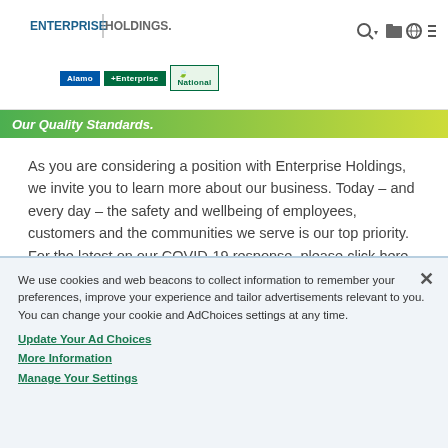[Figure (logo): Enterprise Holdings logo with vertical divider, Alamo, Enterprise, and National brand logos below, and navigation icons (search, folder, globe, menu) on the right]
Our Quality Standards.
As you are considering a position with Enterprise Holdings, we invite you to learn more about our business. Today – and every day – the safety and wellbeing of employees, customers and the communities we serve is our top priority. For the latest on our COVID-19 response, please click here.
We use cookies and web beacons to collect information to remember your preferences, improve your experience and tailor advertisements relevant to you. You can change your cookie and AdChoices settings at any time.
Update Your Ad Choices
More Information
Manage Your Settings